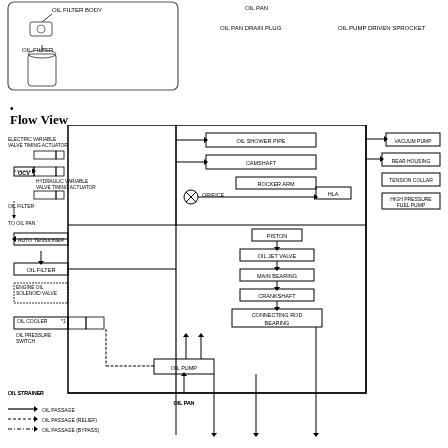[Figure (schematic): Top portion showing oil filter body, oil filter, oil pan, oil pan drain plug, oil pump driven sprocket components diagram]
•
Flow View
[Figure (flowchart): Oil system flow diagram showing: Electric Variable Valve Timing Actuator, OCV, Hydraulic Variable Valve Timing Actuator, Oil Filter, Auto Tensioner, Oil Filter, Engine Oil Solenoid Valve, Oil Cooler, Oil Pressure Switch, Oil Pump, Oil Strainer connected to Oil Shower Pipe, Camshaft, Rocker Arm, HLA, Orifice, Piston, Oil Jet Valve, Main Bearing, Crankshaft, Connecting Rod Bearing, Oil Pan, Vacuum Pump, Rear Housing, Tension Collar, High Pressure Fuel Pump. Legend: Oil Passage (solid arrow), Oil Passage Relief (dashed arrow), Oil Passage Bypass (dash-dot arrow)]